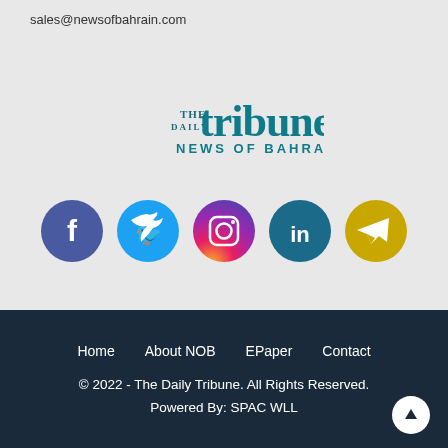sales@newsofbahrain.com
[Figure (logo): The Daily Tribune - News of Bahrain logo in teal/dark teal color]
[Figure (infographic): Social media icons: Facebook (purple), Twitter (blue), Instagram (pink/gradient), LinkedIn (dark teal), Telegram (gold/yellow)]
Home   About NOB   EPaper   Contact
© 2022 - The Daily Tribune. All Rights Reserved.
Powered By: SPAC WLL